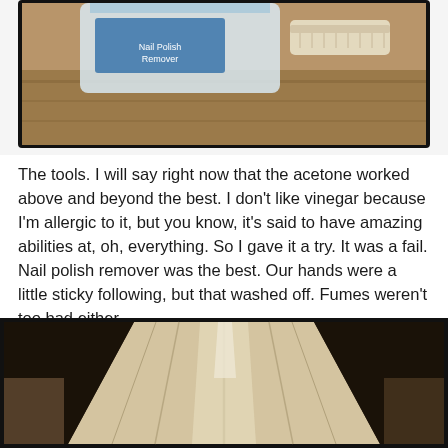[Figure (photo): Top portion of a photo showing a clear plastic bottle and a scrub brush on a wooden surface, with black border framing.]
The tools. I will say right now that the acetone worked above and beyond the best. I don’t like vinegar because I’m allergic to it, but you know, it’s said to have amazing abilities at, oh, everything. So I gave it a try. It was a fail. Nail polish remover was the best. Our hands were a little sticky following, but that washed off. Fumes weren’t too bad either.
[Figure (photo): A lamp shade with a beige/cream fabric surface showing vertical ribbed panel seams, photographed against a dark background.]